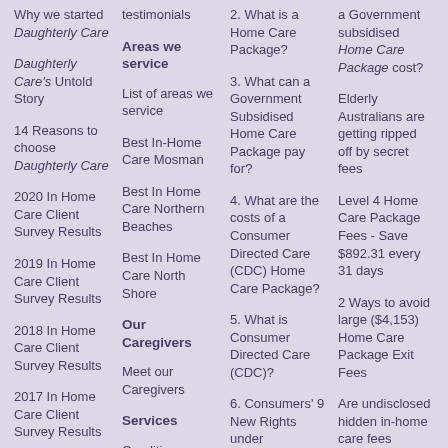Why we started Daughterly Care
Daughterly Care's Untold Story
14 Reasons to choose Daughterly Care
2020 In Home Care Client Survey Results
2019 In Home Care Client Survey Results
2018 In Home Care Client Survey Results
2017 In Home Care Client Survey Results
2016 In Home Care…
testimonials
Areas we service
List of areas we service
Best In-Home Care Mosman
Best In Home Care Northern Beaches
Best In Home Care North Shore
Our Caregivers
Meet our Caregivers
Services
Conditions We…
2. What is a Home Care Package?
3. What can a Government Subsidised Home Care Package pay for?
4. What are the costs of a Consumer Directed Care (CDC) Home Care Package?
5. What is Consumer Directed Care (CDC)?
6. Consumers' 9 New Rights under Consumer Directed Care…
…a Government subsidised Home Care Package cost?
Elderly Australians are getting ripped off by secret fees
Level 4 Home Care Package Fees - Save $892.31 every 31 days
2 Ways to avoid large ($4,153) Home Care Package Exit Fees
Are undisclosed hidden in-home care fees…